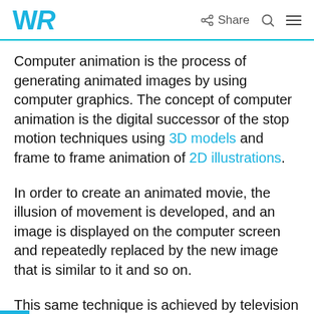WR  Share
Computer animation is the process of generating animated images by using computer graphics. The concept of computer animation is the digital successor of the stop motion techniques using 3D models and frame to frame animation of 2D illustrations.
In order to create an animated movie, the illusion of movement is developed, and an image is displayed on the computer screen and repeatedly replaced by the new image that is similar to it and so on.
This same technique is achieved by television and also by motion pictures.